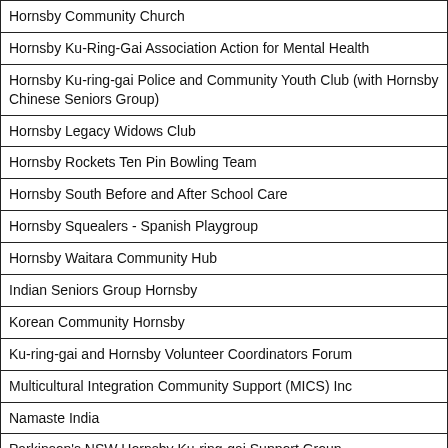| Hornsby Community Church |
| Hornsby Ku-Ring-Gai Association Action for Mental Health |
| Hornsby Ku-ring-gai Police and Community Youth Club (with Hornsby Chinese Seniors Group) |
| Hornsby Legacy Widows Club |
| Hornsby Rockets Ten Pin Bowling Team |
| Hornsby South Before and After School Care |
| Hornsby Squealers - Spanish Playgroup |
| Hornsby Waitara Community Hub |
| Indian Seniors Group Hornsby |
| Korean Community Hornsby |
| Ku-ring-gai and Hornsby Volunteer Coordinators Forum |
| Multicultural Integration Community Support (MICS) Inc |
| Namaste India |
| Parkinson's NSW Hornsby Ku-ring-gai Support Group |
| Permaculture Sydney North (PSN) - Hornsby Local Group |
| Sa Rang Bang Korean Community |